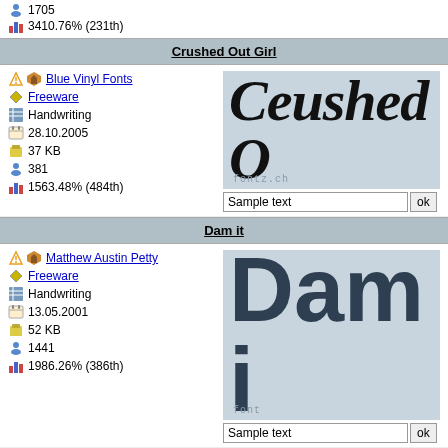1705
3410.76% (231th)
Crushed Out Girl
Blue Vinyl Fonts
Freeware
Handwriting
28.10.2005
37 KB
381
1563.48% (484th)
[Figure (screenshot): Font preview of Crushed Out Girl showing cursive handwriting text on light blue background with fontz.ch watermark]
Dam it
Matthew Austin Petty
Freeware
Handwriting
13.05.2001
52 KB
1441
1986.26% (386th)
[Figure (screenshot): Font preview of Dam it showing bold chunky dark letters on light blue background with font.ch watermark]
page navigator
Handwriting | 1 2 3 4 5
©2000-2022 fontz.ch - a non-profit proj